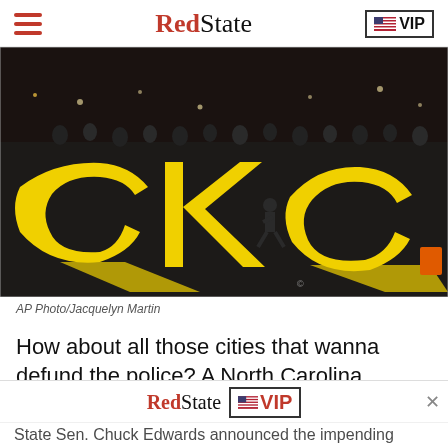RedState | VIP
[Figure (photo): Night protest scene with large yellow letters painted on the street, crowds of people surrounding the painted street mural, city lights in background]
AP Photo/Jacquelyn Martin
How about all those cities that wanna defund the police? A North Carolina senator says defund them.
State Sen. Chuck Edwards announced the impending